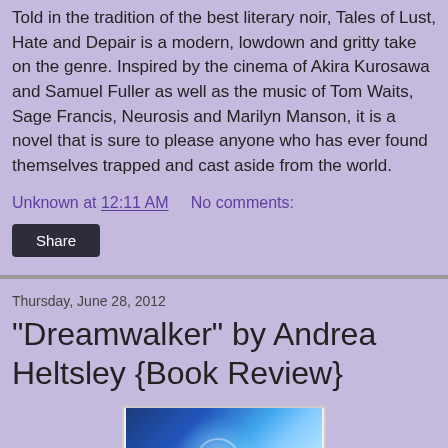Told in the tradition of the best literary noir, Tales of Lust, Hate and Depair is a modern, lowdown and gritty take on the genre. Inspired by the cinema of Akira Kurosawa and Samuel Fuller as well as the music of Tom Waits, Sage Francis, Neurosis and Marilyn Manson, it is a novel that is sure to please anyone who has ever found themselves trapped and cast aside from the world.
Unknown at 12:11 AM    No comments:
Share
Thursday, June 28, 2012
"Dreamwalker" by Andrea Heltsley {Book Review}
[Figure (photo): Book cover image partially visible, showing a blue/purple starry background with circular design element]